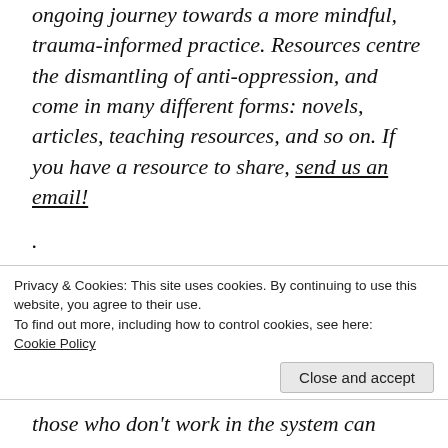ongoing journey towards a more mindful, trauma-informed practice. Resources centre the dismantling of anti-oppression, and come in many different forms: novels, articles, teaching resources, and so on. If you have a resource to share, send us an email!
.
How many times have you witnessed some bull throughout your journey as an educator and had some choice NSFW words for it?
Privacy & Cookies: This site uses cookies. By continuing to use this website, you agree to their use.
To find out more, including how to control cookies, see here:
Cookie Policy
Close and accept
those who don't work in the system can